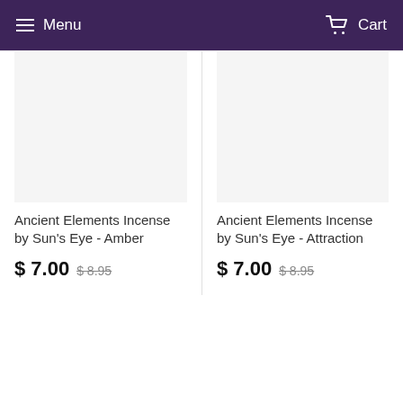Menu  Cart
Ancient Elements Incense by Sun's Eye - Amber
$ 7.00  $ 8.95
Ancient Elements Incense by Sun's Eye - Attraction
$ 7.00  $ 8.95